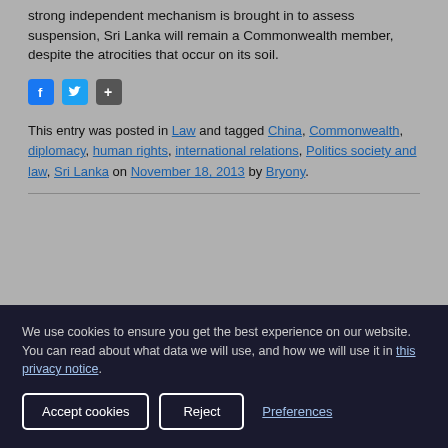strong independent mechanism is brought in to assess suspension, Sri Lanka will remain a Commonwealth member, despite the atrocities that occur on its soil.
[Figure (other): Social sharing icons: Facebook (blue), Twitter (light blue), and a share/more button (grey)]
This entry was posted in Law and tagged China, Commonwealth, diplomacy, human rights, international relations, Politics society and law, Sri Lanka on November 18, 2013 by Bryony.
We use cookies to ensure you get the best experience on our website.
You can read about what data we will use, and how we will use it in this privacy notice.
Accept cookies   Reject   Preferences